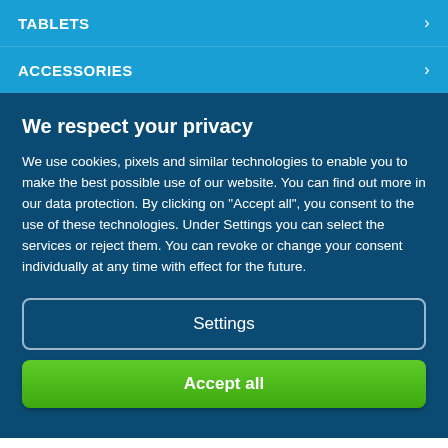TABLETS
ACCESSORIES
We respect your privacy
We use cookies, pixels and similar technologies to enable you to make the best possible use of our website. You can find out more in our data protection. By clicking on "Accept all", you consent to the use of these technologies. Under Settings you can select the services or reject them. You can revoke or change your consent individually at any time with effect for the future.
Settings
Accept all